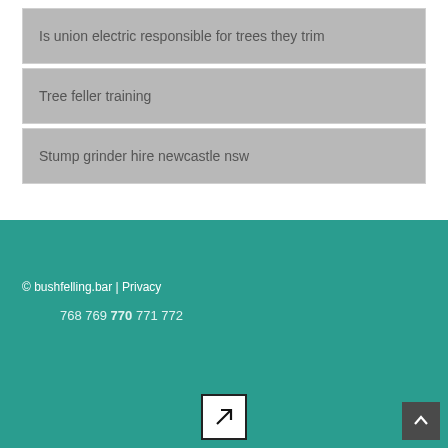Is union electric responsible for trees they trim
Tree feller training
Stump grinder hire newcastle nsw
© bushfelling.bar | Privacy
768 769 770 771 772